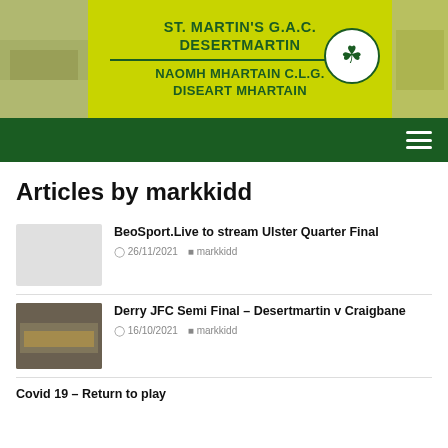[Figure (logo): St. Martin's GAC Desertmartin header banner with yellow-green background, club name in English and Irish, and shamrock logo]
ST. MARTIN'S G.A.C. DESERTMARTIN
NAOMH MHARTAIN C.L.G. DISEART MHARTAIN
Articles by markkidd
BeoSport.Live to stream Ulster Quarter Final
26/11/2021  markkidd
Derry JFC Semi Final – Desertmartin v Craigbane
16/10/2021  markkidd
Covid 19 – Return to play